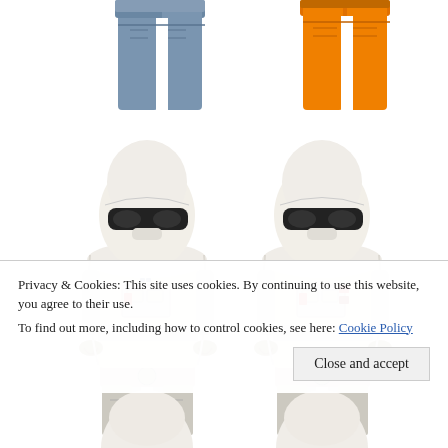[Figure (photo): Two LEGO Star Wars Snowtrooper minifigures (full torso and head visible) side by side, with partial views of two other LEGO minifigure legs at the top (blue-gray legs on left, orange legs on right) and partial white-helmeted figures at the bottom. The snowtroopers have white helmet/hood pieces, white torso armor with printed details, and dark tan claw-hands.]
Privacy & Cookies: This site uses cookies. By continuing to use this website, you agree to their use.
To find out more, including how to control cookies, see here: Cookie Policy
Close and accept